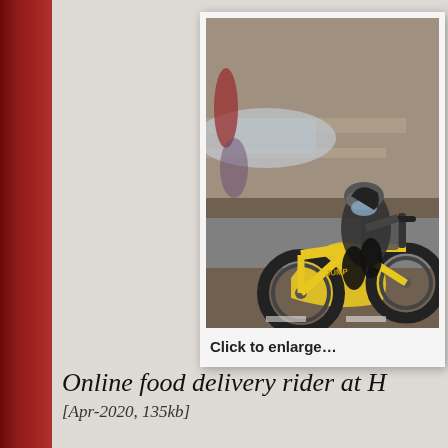[Figure (photo): A food delivery rider wearing a face mask riding a yellow electric bicycle on a city street, with blurred cars and pedestrians in the background. The photo is displayed in a white card frame with a polaroid-style border.]
Click to enlarge…
Online food delivery rider at H
[Apr-2020, 135kb]